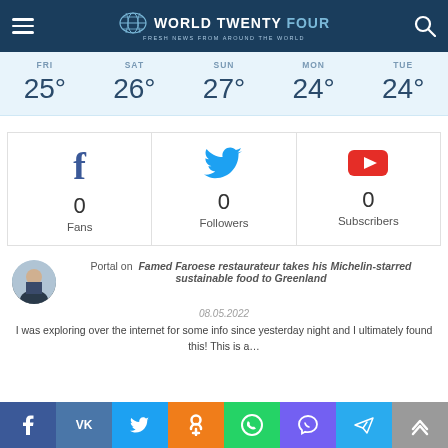World Twenty Four — Fresh news from around the world
| FRI | SAT | SUN | MON | TUE |
| --- | --- | --- | --- | --- |
| 25° | 26° | 27° | 24° | 24° |
[Figure (infographic): Social media counters: Facebook 0 Fans, Twitter 0 Followers, YouTube 0 Subscribers]
Portal on Famed Faroese restaurateur takes his Michelin-starred sustainable food to Greenland
08.05.2022
I was exploring over the internet for some info since yesterday night and I ultimately found this! This is a...
Social share bar: Facebook, VK, Twitter, Odnoklassniki, WhatsApp, Viber, Telegram, Scroll to top